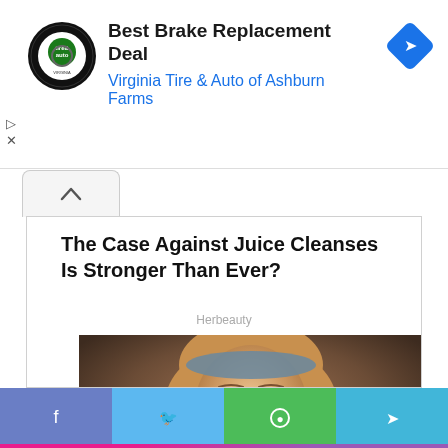[Figure (infographic): Advertisement banner for Virginia Tire & Auto of Ashburn Farms showing a circular logo with tire and auto text, headline 'Best Brake Replacement Deal', subtext 'Virginia Tire & Auto of Ashburn Farms', and a blue diamond-shaped navigation icon. Small play and close controls on the left side.]
The Case Against Juice Cleanses Is Stronger Than Ever?
Herbeauty
[Figure (photo): Photo of a young girl with long blonde hair and a blue headband, looking slightly upward with a neutral expression, against a warm brownish background.]
[Figure (infographic): Bottom share bar with four social media buttons: Facebook (blue-purple), Twitter (light blue), WhatsApp (green), Telegram (cyan). A pink-purple gradient accent line at the very bottom.]